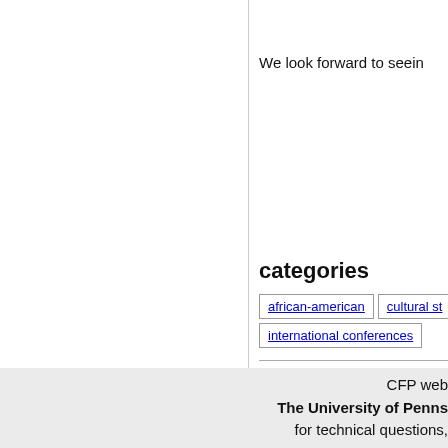We look forward to seein
categories
african-american   cultural st   international conferences
Last updated December 17, 2020
This CFP has been viewed 300 time
CFP web   The University of Penns   for technical questions,